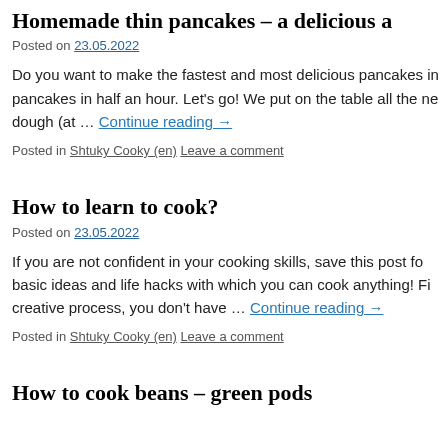Homemade thin pancakes – a delicious a
Posted on 23.05.2022
Do you want to make the fastest and most delicious pancakes in… pancakes in half an hour. Let's go! We put on the table all the ne… dough (at … Continue reading →
Posted in Shtuky Cooky (en) Leave a comment
How to learn to cook?
Posted on 23.05.2022
If you are not confident in your cooking skills, save this post fo… basic ideas and life hacks with which you can cook anything! Fi… creative process, you don't have … Continue reading →
Posted in Shtuky Cooky (en) Leave a comment
How to cook beans – green pods